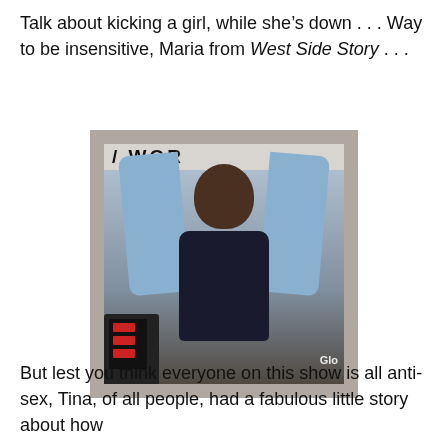Talk about kicking a girl, while she’s down . . . Way to be insensitive, Maria from West Side Story . . .
[Figure (photo): Screenshot from a TV or video screen showing a person with arms raised, wearing a dark top and light blue cardigan/wrap. A sign with partial text is visible at the top. A laptop is visible at the bottom left. 'Glo' watermark at bottom right.]
But lest you think everyone on this show is all anti-sex, Tina, of all people, had a fabulous little story about how